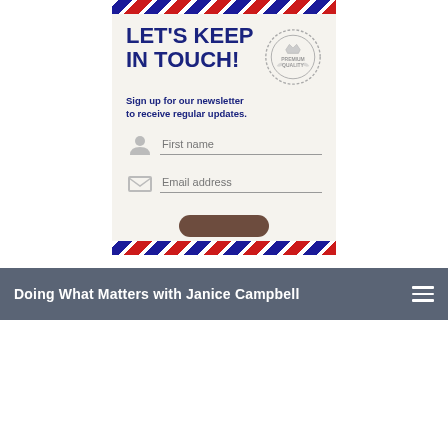[Figure (infographic): Newsletter signup card with airmail border design, 'LET'S KEEP IN TOUCH!' headline in dark blue, Premium Quality stamp, subtext about newsletter, First name and Email address input fields]
Doing What Matters with Janice Campbell
CATEGORIES
BOOKS AND READING (42)
CREATIVITY AND SOUL CARE (42)